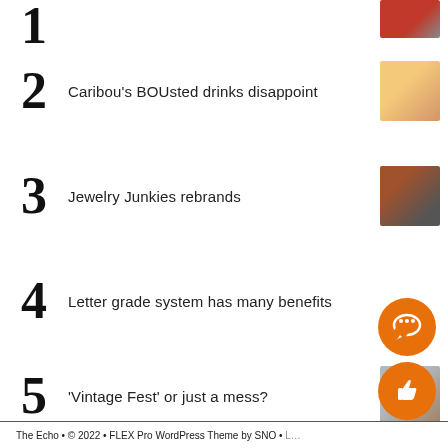1
2 Caribou's BOUsted drinks disappoint
3 Jewelry Junkies rebrands
4 Letter grade system has many benefits
5 'Vintage Fest' or just a mess?
The Echo • © 2022 • FLEX Pro WordPress Theme by SNO •